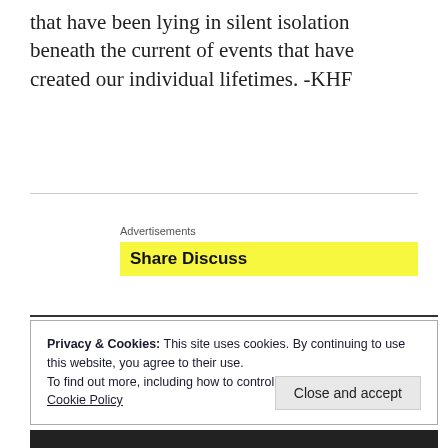that have been lying in silent isolation beneath the current of events that have created our individual lifetimes. -KHF
Advertisements
[Figure (screenshot): Yellow advertisement bar with bold text 'Share Discuss']
Privacy & Cookies: This site uses cookies. By continuing to use this website, you agree to their use.
To find out more, including how to control cookies, see here:
Cookie Policy
Close and accept